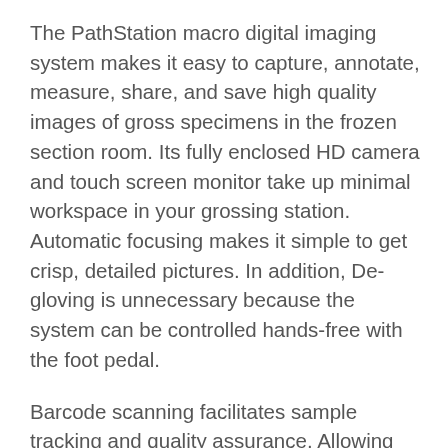The PathStation macro digital imaging system makes it easy to capture, annotate, measure, share, and save high quality images of gross specimens in the frozen section room. Its fully enclosed HD camera and touch screen monitor take up minimal workspace in your grossing station. Automatic focusing makes it simple to get crisp, detailed pictures. In addition, De-gloving is unnecessary because the system can be controlled hands-free with the foot pedal.
Barcode scanning facilitates sample tracking and quality assurance. Allowing seamless remote conferencing enables high resolution live consultation with the operating room for interoperative consults. Annotations and scale bars can be added automatically upon image capture, taking no time at